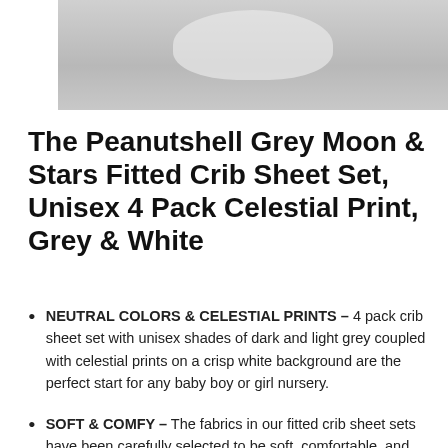[Figure (photo): Partial product photo showing grey crib sheet, cropped at top of page]
The Peanutshell Grey Moon & Stars Fitted Crib Sheet Set, Unisex 4 Pack Celestial Print, Grey & White
NEUTRAL COLORS & CELESTIAL PRINTS – 4 pack crib sheet set with unisex shades of dark and light grey coupled with celestial prints on a crisp white background are the perfect start for any baby boy or girl nursery.
SOFT & COMFY – The fabrics in our fitted crib sheet sets have been carefully selected to be soft, comfortable, and breathable. Made from 100% microfiber, the and...